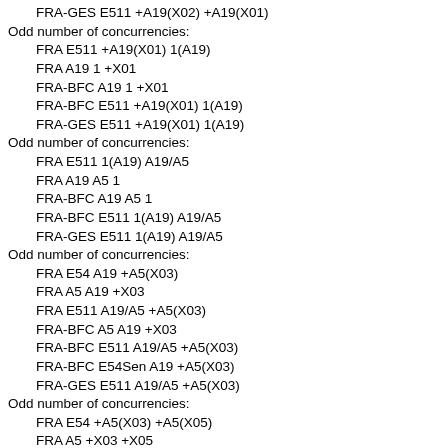FRA-GES E511 +A19(X02) +A19(X01)
Odd number of concurrencies:
FRA E511 +A19(X01) 1(A19)
FRA A19 1 +X01
FRA-BFC A19 1 +X01
FRA-BFC E511 +A19(X01) 1(A19)
FRA-GES E511 +A19(X01) 1(A19)
Odd number of concurrencies:
FRA E511 1(A19) A19/A5
FRA A19 A5 1
FRA-BFC A19 A5 1
FRA-BFC E511 1(A19) A19/A5
FRA-GES E511 1(A19) A19/A5
Odd number of concurrencies:
FRA E54 A19 +A5(X03)
FRA A5 A19 +X03
FRA E511 A19/A5 +A5(X03)
FRA-BFC A5 A19 +X03
FRA-BFC E511 A19/A5 +A5(X03)
FRA-BFC E54Sen A19 +A5(X03)
FRA-GES E511 A19/A5 +A5(X03)
Odd number of concurrencies:
FRA E54 +A5(X03) +A5(X05)
FRA A5 +X03 +X05
FRA E511 +A5(X03) +A5(X05)
FRA-BFC A5 +X03 +X05
FRA-BFC E511 +A5(X03) +A5(X05)
FRA-BFC E54Sen +A5(X03) +A5(X05)
FRA-GES E511 +A5(X03) +A5(X05)
Odd number of concurrencies: